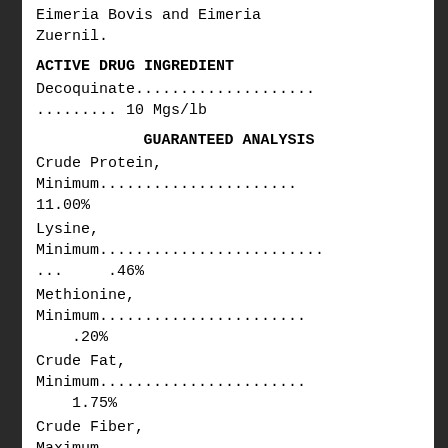Eimeria Bovis and Eimeria Zuernil.
ACTIVE DRUG INGREDIENT
Decoquinate.......................... ......... 10 Mgs/lb
GUARANTEED ANALYSIS
Crude Protein, Minimum.................... 11.00%
Lysine, Minimum........................... ...     .46%
Methionine, Minimum....................... .20%
Crude Fat, Minimum........................ 1.75%
Crude Fiber, Maximum...................... 28.00%
Calcium,